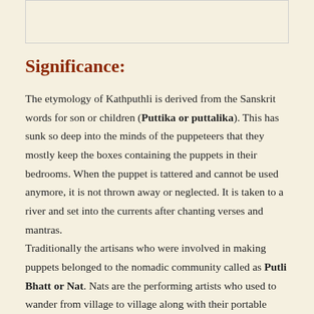[Figure (other): Empty box or image placeholder at the top of the page]
Significance:
The etymology of Kathputhli is derived from the Sanskrit words for son or children (Puttika or puttalika). This has sunk so deep into the minds of the puppeteers that they mostly keep the boxes containing the puppets in their bedrooms. When the puppet is tattered and cannot be used anymore, it is not thrown away or neglected. It is taken to a river and set into the currents after chanting verses and mantras.
Traditionally the artisans who were involved in making puppets belonged to the nomadic community called as Putli Bhatt or Nat. Nats are the performing artists who used to wander from village to village along with their portable theatres. They entertained gatherings by